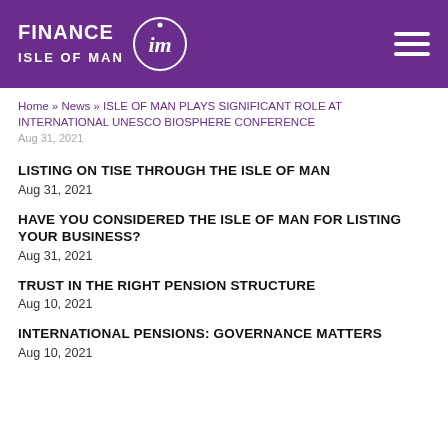FINANCE ISLE OF MAN
Home » News » ISLE OF MAN PLAYS SIGNIFICANT ROLE AT INTERNATIONAL UNESCO BIOSPHERE CONFERENCE
Aug 31, 2021
LISTING ON TISE THROUGH THE ISLE OF MAN
Aug 31, 2021
HAVE YOU CONSIDERED THE ISLE OF MAN FOR LISTING YOUR BUSINESS?
Aug 31, 2021
TRUST IN THE RIGHT PENSION STRUCTURE
Aug 10, 2021
INTERNATIONAL PENSIONS: GOVERNANCE MATTERS
Aug 10, 2021